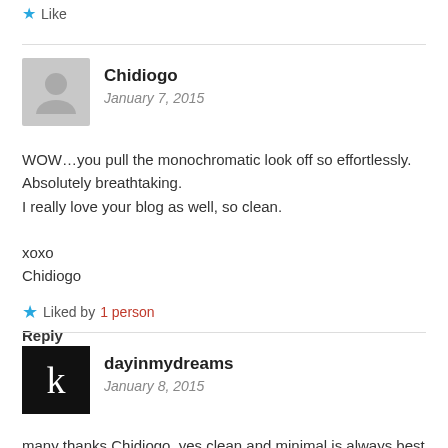Like
Chidiogo
January 7, 2015
WOW...you pull the monochromatic look off so effortlessly. Absolutely breathtaking.
I really love your blog as well, so clean.

xoxo
Chidiogo
Liked by 1 person
Reply
dayinmydreams
January 8, 2015
many thanks Chidiogo, yes clean and minimal is always best